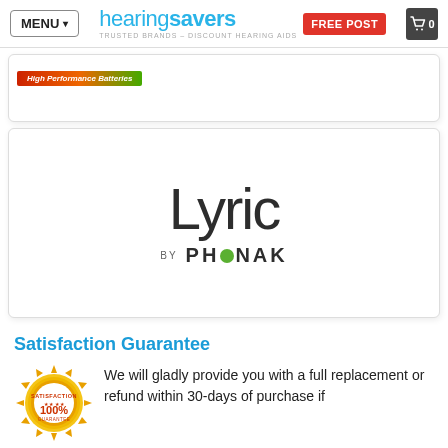MENU | hearing savers TRUSTED BRANDS - DISCOUNT HEARING AIDS | FREE POST | 0
[Figure (logo): Partial product card showing a banner with 'High Performance Batteries' text in gradient red-orange-green]
[Figure (logo): Lyric by Phonak logo card: large italic 'Lyric' text in dark grey, below it 'BY PHONAK' in bold uppercase with a green dot replacing the O in PHONAK]
Satisfaction Guarantee
[Figure (illustration): Gold satisfaction guarantee badge/seal showing '100%' and 'SATISFACTION' text in a circular sun-burst seal design]
We will gladly provide you with a full replacement or refund within 30-days of purchase if